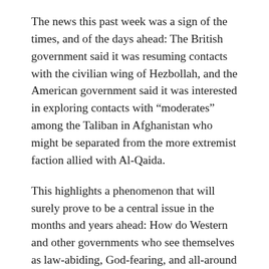The news this past week was a sign of the times, and of the days ahead: The British government said it was resuming contacts with the civilian wing of Hezbollah, and the American government said it was interested in exploring contacts with “moderates” among the Taliban in Afghanistan who might be separated from the more extremist faction allied with Al-Qaida.
This highlights a phenomenon that will surely prove to be a central issue in the months and years ahead: How do Western and other governments who see themselves as law-abiding, God-fearing, and all-around righteous connect with, or even negotiate with, armed and militant movements that defy, challenge and occasionally attack their local allies and surrogates?
The Taliban and Hezbollah are two very different movements, reflecting diverse national contexts, aims, tactics and degrees of legitimacy. They are only two of